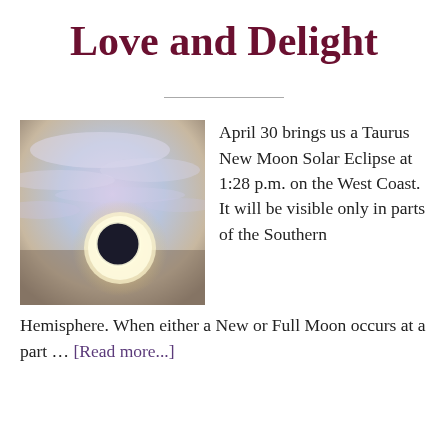Love and Delight
[Figure (photo): Solar eclipse photo showing the moon blocking the sun with a corona visible, against a cloudy blue-purple sky]
April 30 brings us a Taurus New Moon Solar Eclipse at 1:28 p.m. on the West Coast. It will be visible only in parts of the Southern Hemisphere. When either a New or Full Moon occurs at a part … [Read more...]